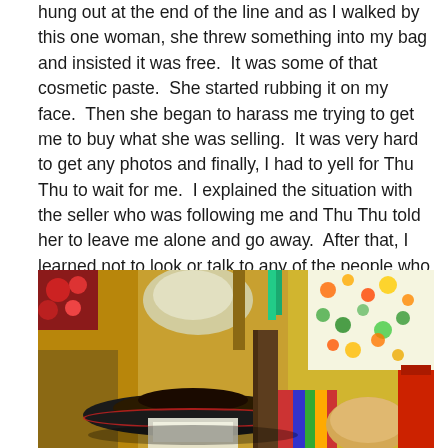hung out at the end of the line and as I walked by this one woman, she threw something into my bag and insisted it was free.  It was some of that cosmetic paste.  She started rubbing it on my face.  Then she began to harass me trying to get me to buy what she was selling.  It was very hard to get any photos and finally, I had to yell for Thu Thu to wait for me.  I explained the situation with the seller who was following me and Thu Thu told her to leave me alone and go away.  After that, I learned not to look or talk to any of the people who walked up to me trying to sell things.
[Figure (photo): A colorful market stall scene showing hats, bags, textiles and other goods for sale. A large dark woven hat is prominent in the foreground, with colorful fabrics, bags and merchandise visible in the background.]